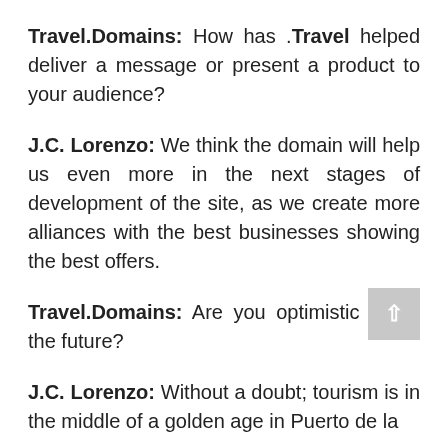Travel.Domains: How has .Travel helped deliver a message or present a product to your audience?
J.C. Lorenzo: We think the domain will help us even more in the next stages of development of the site, as we create more alliances with the best businesses showing the best offers.
Travel.Domains: Are you optimistic about the future?
J.C. Lorenzo: Without a doubt; tourism is in the middle of a golden age in Puerto de la